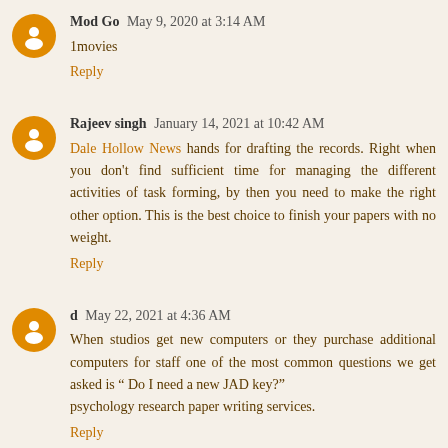Mod Go  May 9, 2020 at 3:14 AM
1movies
Reply
Rajeev singh  January 14, 2021 at 10:42 AM
Dale Hollow News hands for drafting the records. Right when you don't find sufficient time for managing the different activities of task forming, by then you need to make the right other option. This is the best choice to finish your papers with no weight.
Reply
d  May 22, 2021 at 4:36 AM
When studios get new computers or they purchase additional computers for staff one of the most common questions we get asked is “ Do I need a new JAD key?”
psychology research paper writing services.
Reply